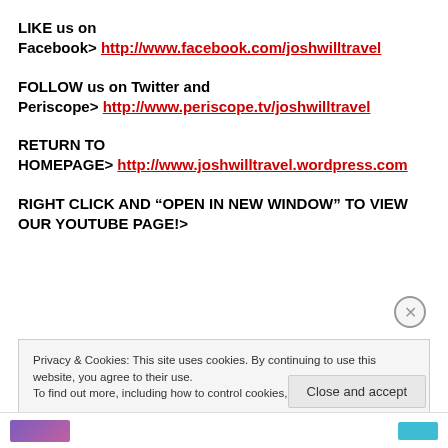LIKE us on Facebook> http://www.facebook.com/joshwilltravel
FOLLOW us on Twitter and Periscope> http://www.periscope.tv/joshwilltravel
RETURN TO HOMEPAGE> http://www.joshwilltravel.wordpress.com
RIGHT CLICK AND “OPEN IN NEW WINDOW” TO VIEW OUR YOUTUBE PAGE!>
Privacy & Cookies: This site uses cookies. By continuing to use this website, you agree to their use. To find out more, including how to control cookies, see here: Cookie Policy
Close and accept